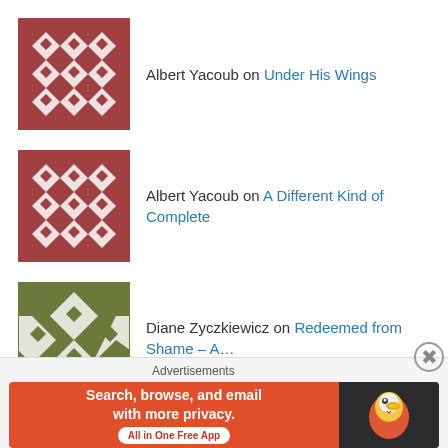Albert Yacoub on Under His Wings
Albert Yacoub on A Different Kind of Complete
Diane Zyczkiewicz on Redeemed from Shame – A…
kcmsr on Redeemed from Shame – A…
kcmsr on Tis mine to obey, tis His to p…
Archives
[Figure (screenshot): DuckDuckGo advertisement banner: Search, browse, and email with more privacy. All in One Free App.]